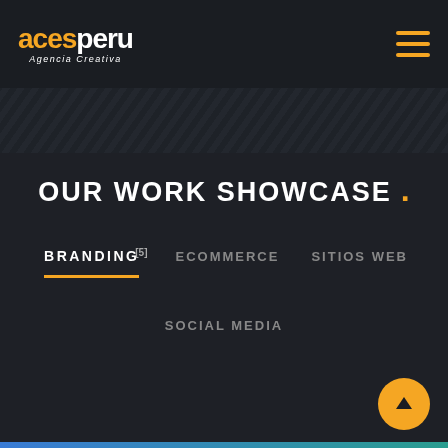acesperu Agencia Creativa
OUR WORK SHOWCASE .
BRANDING(5)   ECOMMERCE   SITIOS WEB
SOCIAL MEDIA